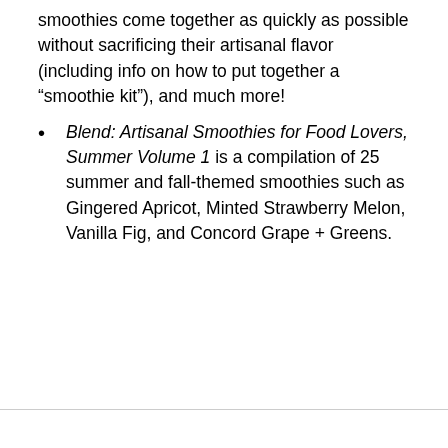smoothies come together as quickly as possible without sacrificing their artisanal flavor (including info on how to put together a “smoothie kit”), and much more!
Blend: Artisanal Smoothies for Food Lovers, Summer Volume 1 is a compilation of 25 summer and fall-themed smoothies such as Gingered Apricot, Minted Strawberry Melon, Vanilla Fig, and Concord Grape + Greens.